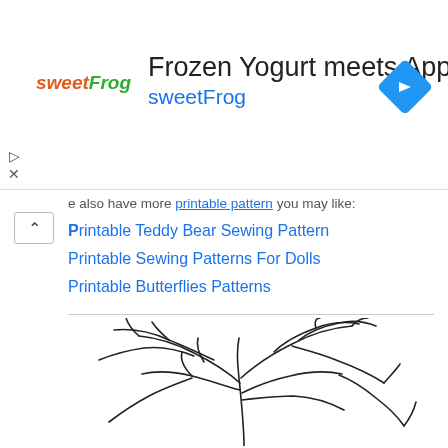[Figure (infographic): Advertisement banner for sweetFrog frozen yogurt. Contains the sweetFrog logo, headline 'Frozen Yogurt meets Apple Pie', a navigation/map arrow icon, and close/skip icons.]
e also have more printable pattern you may like:
Printable Teddy Bear Sewing Pattern
Printable Sewing Patterns For Dolls
Printable Butterflies Patterns
[Figure (illustration): Line drawing of a bare tree with many branches and no leaves, outline style in black on white background.]